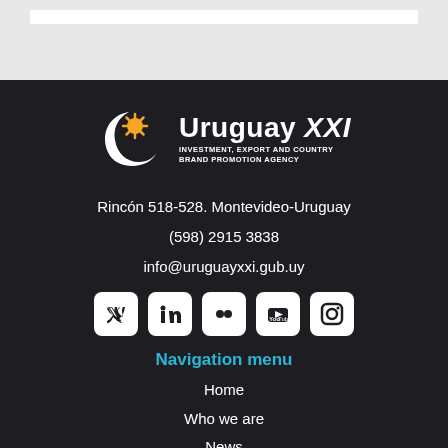[Figure (logo): Uruguay XXI Investment, Export and Country Brand Promotion Agency logo with crescent moon and sun symbol]
Rincón 518-528. Montevideo-Uruguay
(598) 2915 3838
info@uruguayxxi.gub.uy
[Figure (other): Social media icons: Twitter, LinkedIn, Flickr, YouTube, Instagram]
Navigation menu
Home
Who we are
News
Events
I want to export